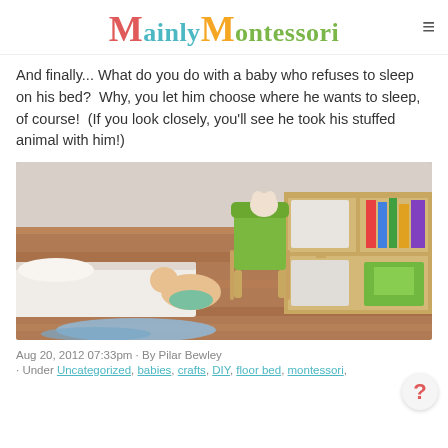Mainly Montessori
And finally... What do you do with a baby who refuses to sleep on his bed?  Why, you let him choose where he wants to sleep, of course!  (If you look closely, you'll see he took his stuffed animal with him!)
[Figure (photo): A baby sleeping on a hardwood floor next to a low floor bed/mattress, with a wooden bookshelf and a green cushioned chair in the background. A blue blanket is on the floor in front.]
Aug 20, 2012 07:33pm · By Pilar Bewley
· Under Uncategorized, babies, crafts, DIY, floor bed, montessori,